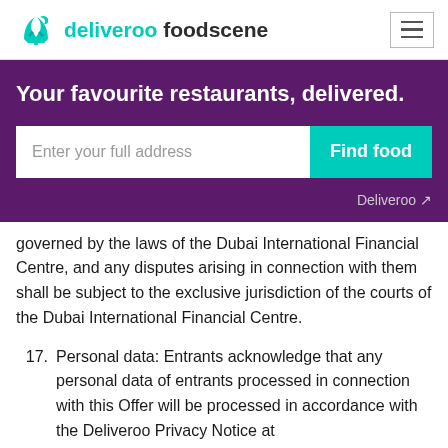deliveroo foodscene
[Figure (screenshot): Deliveroo foodscene website header with logo, hamburger menu, purple hero banner with text 'Your favourite restaurants, delivered.', address input field, 'Find food' teal button, and Deliveroo external link.]
governed by the laws of the Dubai International Financial Centre, and any disputes arising in connection with them shall be subject to the exclusive jurisdiction of the courts of the Dubai International Financial Centre.
17. Personal data: Entrants acknowledge that any personal data of entrants processed in connection with this Offer will be processed in accordance with the Deliveroo Privacy Notice at https://deliveroo.ae/privacy. In particular: